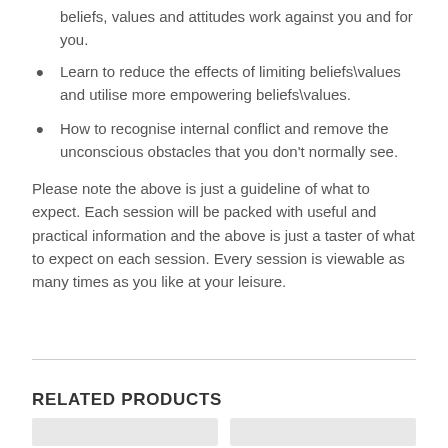beliefs, values and attitudes work against you and for you.
Learn to reduce the effects of limiting beliefs\values and utilise more empowering beliefs\values.
How to recognise internal conflict and remove the unconscious obstacles that you don’t normally see.
Please note the above is just a guideline of what to expect. Each session will be packed with useful and practical information and the above is just a taster of what to expect on each session. Every session is viewable as many times as you like at your leisure.
RELATED PRODUCTS